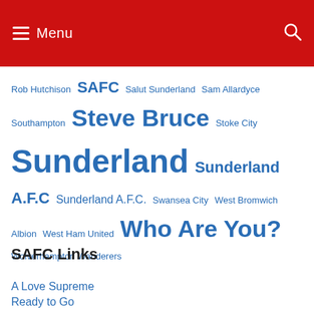Menu
Rob Hutchison SAFC Salut Sunderland Sam Allardyce Southampton Steve Bruce Stoke City Sunderland Sunderland A.F.C Sunderland A.F.C. Swansea City West Bromwich Albion West Ham United Who Are You? Wolverhampton Wanderers
SAFC Links
A Love Supreme
Ready to Go